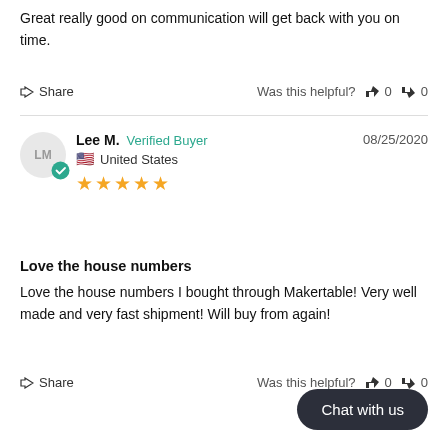Great really good on communication will get back with you on time.
Share   Was this helpful?  👍 0  👎 0
Lee M.  Verified Buyer   08/25/2020
🇺🇸 United States
★★★★★
Love the house numbers
Love the house numbers I bought through Makertable! Very well made and very fast shipment! Will buy from again!
Share   Was this helpful?  👍 0  👎 0
Chat with us